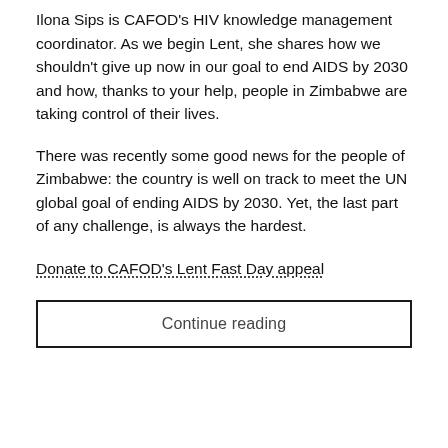Ilona Sips is CAFOD's HIV knowledge management coordinator. As we begin Lent, she shares how we shouldn't give up now in our goal to end AIDS by 2030 and how, thanks to your help, people in Zimbabwe are taking control of their lives.
There was recently some good news for the people of Zimbabwe: the country is well on track to meet the UN global goal of ending AIDS by 2030. Yet, the last part of any challenge, is always the hardest.
Donate to CAFOD's Lent Fast Day appeal
Continue reading